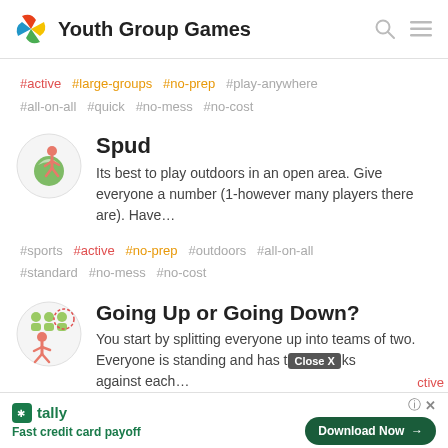Youth Group Games
#active #large-groups #no-prep #play-anywhere #all-on-all #quick #no-mess #no-cost
Spud
Its best to play outdoors in an open area. Give everyone a number (1-however many players there are). Have…
#sports #active #no-prep #outdoors #all-on-all #standard #no-mess #no-cost
Going Up or Going Down?
You start by splitting everyone up into teams of two. Everyone is standing and has t…ks against each…
[Figure (infographic): Tally app advertisement banner with 'Fast credit card payoff' tagline and Download Now button]